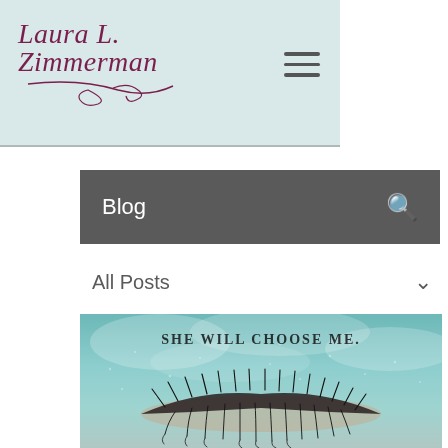Laura L. Zimmerman
Blog
All Posts
[Figure (illustration): Book cover showing a close-up of a woman's closed eye with dark lashes against a moody teal/grey sky with rain or mist, with the text 'SHE WILL CHOOSE ME.' overlaid at the top.]